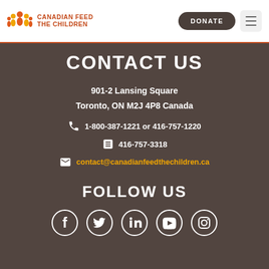[Figure (logo): Canadian Feed The Children logo with orange figure icons and orange text]
CONTACT US
901-2 Lansing Square
Toronto, ON M2J 4P8 Canada
1-800-387-1221 or 416-757-1220
416-757-3318
contact@canadianfeedthechildren.ca
FOLLOW US
[Figure (illustration): Social media icons: Facebook, Twitter, LinkedIn, YouTube, Instagram]